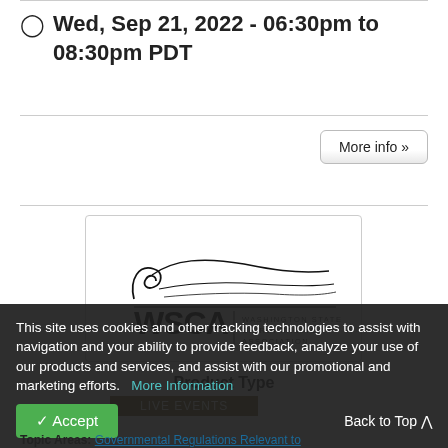Wed, Sep 21, 2022 - 06:30pm to 08:30pm PDT
More info »
[Figure (logo): WSCA - Washington State Chiropractic Association logo with stylized wave/spine graphic above bold WSCA text and vertical bar separator with full name in smaller text]
Product Type
This site uses cookies and other tracking technologies to assist with navigation and your ability to provide feedback, analyze your use of our products and services, and assist with our promotional and marketing efforts.  More Information
✓ Accept
Back to Top ∧
Topic Areas: Governmental Regulations Relevant to